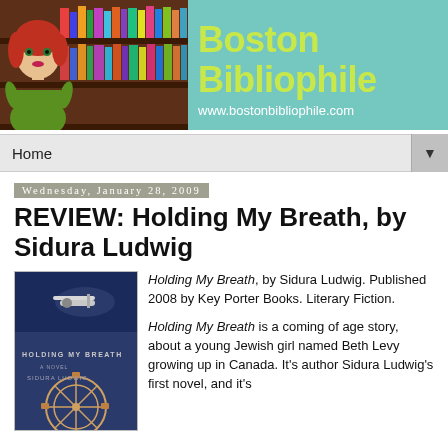[Figure (illustration): Boston Bibliophile blog banner with cartoon woman with red hair in front of bookshelf, teal background, yellow-green bold text reading 'Boston Bibliophile' and URL 'www.bostonbibliophile.com']
Home
Wednesday, January 28, 2009
REVIEW: Holding My Breath, by Sidura Ludwig
[Figure (illustration): Book cover of 'Holding My Breath' by Sidura Ludwig showing a biplane in a blue sky and a Ferris wheel below]
Holding My Breath, by Sidura Ludwig. Published 2008 by Key Porter Books. Literary Fiction.
Holding My Breath is a coming of age story, about a young Jewish girl named Beth Levy growing up in Canada. It's author Sidura Ludwig's first novel, and it's